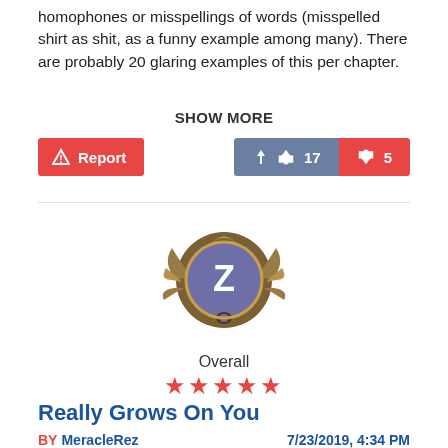homophones or misspellings of words (misspelled shirt as shit, as a funny example among many). There are probably 20 glaring examples of this per chapter.
SHOW MORE
[Figure (other): Report button (red), thumbs up vote button showing 17 (blue-grey), thumbs down vote button showing 5 (red)]
[Figure (other): Badge/avatar icon with ornate bronze border and blue center with letter Z]
Overall
[Figure (other): 5 red stars rating]
Really Grows On You
BY MeracleRez   7/23/2019, 4:34 PM
I've read a lot of litrpg recently with overpowered adventurers making dumb decisions for dumb reasons and are always protected by thick plot armor.